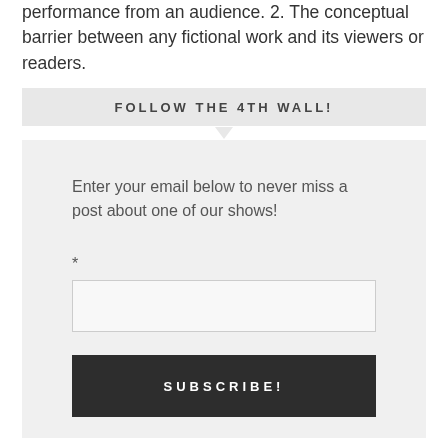performance from an audience. 2. The conceptual barrier between any fictional work and its viewers or readers.
FOLLOW THE 4TH WALL!
Enter your email below to never miss a post about one of our shows!
*
[Figure (other): Email input text field (empty)]
[Figure (other): Subscribe button with text SUBSCRIBE!]